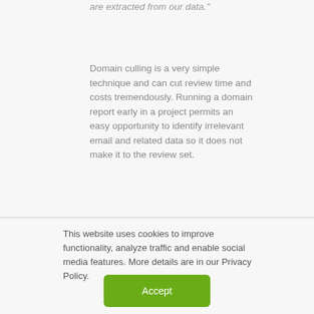are extracted from our data."
Domain culling is a very simple technique and can cut review time and costs tremendously. Running a domain report early in a project permits an easy opportunity to identify irrelevant email and related data so it does not make it to the review set.
This website uses cookies to improve functionality, analyze traffic and enable social media features. More details are in our Privacy Policy.
Accept